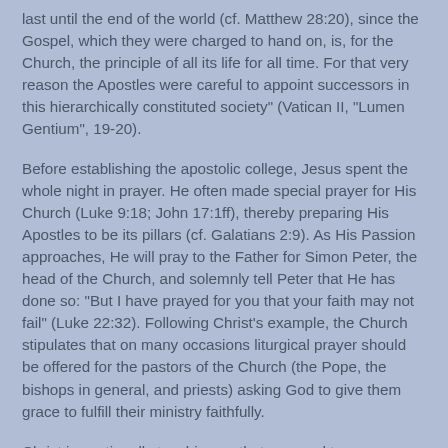last until the end of the world (cf. Matthew 28:20), since the Gospel, which they were charged to hand on, is, for the Church, the principle of all its life for all time. For that very reason the Apostles were careful to appoint successors in this hierarchically constituted society" (Vatican II, "Lumen Gentium", 19-20).
Before establishing the apostolic college, Jesus spent the whole night in prayer. He often made special prayer for His Church (Luke 9:18; John 17:1ff), thereby preparing His Apostles to be its pillars (cf. Galatians 2:9). As His Passion approaches, He will pray to the Father for Simon Peter, the head of the Church, and solemnly tell Peter that He has done so: "But I have prayed for you that your faith may not fail" (Luke 22:32). Following Christ's example, the Church stipulates that on many occasions liturgical prayer should be offered for the pastors of the Church (the Pope, the bishops in general, and priests) asking God to give them grace to fulfill their ministry faithfully.
Christ is continually teaching us that we need to pray always (Luke 18:1). Here He shows us by His example that we